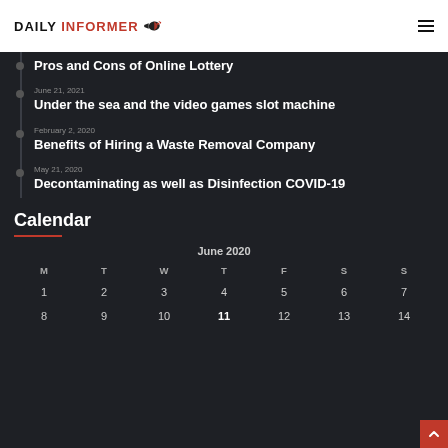DAILY INFORMER
Pros and Cons of Online Lottery
June 21, 2021
Under the sea and the video games slot machine
February 2, 2020
Benefits of Hiring a Waste Removal Company
May 21, 2020
Decontaminating as well as Disinfection COVID-19
Calendar
| M | T | W | T | F | S | S |
| --- | --- | --- | --- | --- | --- | --- |
| 1 | 2 | 3 | 4 | 5 | 6 | 7 |
| 8 | 9 | 10 | 11 | 12 | 13 | 14 |